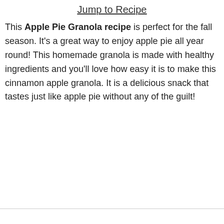Jump to Recipe
This Apple Pie Granola recipe is perfect for the fall season. It’s a great way to enjoy apple pie all year round! This homemade granola is made with healthy ingredients and you’ll love how easy it is to make this cinnamon apple granola. It is a delicious snack that tastes just like apple pie without any of the guilt!